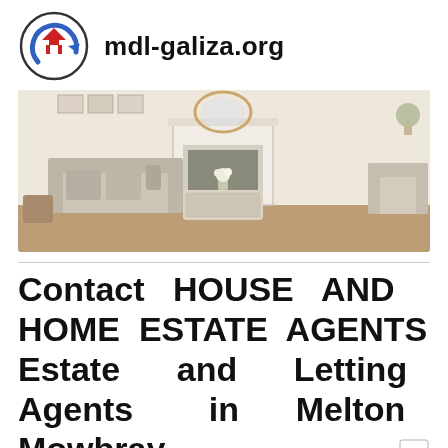mdl-galiza.org
[Figure (photo): Interior living room photo showing a beige sofa, armchairs, coffee table, fireplace, and mirror in a neutral-toned room]
Contact HOUSE AND HOME ESTATE AGENTS Estate and Letting Agents in Melton Mowbray